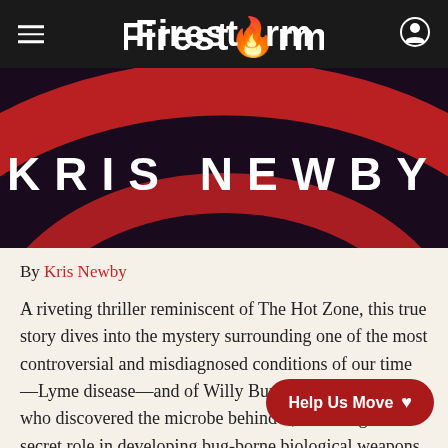Firestorm
[Figure (photo): Book cover showing 'KRIS NEWBY' text in white capital letters on a dark red and black concentric arc design]
By Kris Newby
A riveting thriller reminiscent of The Hot Zone, this true story dives into the mystery surrounding one of the most controversial and misdiagnosed conditions of our time—Lyme disease—and of Willy Burgdorfer, the man who discovered the microbe behind it, revealing his secret role in developing bug-borne biological weapons, and raising terrifying questions about the gene tick-borne diseases affecting millio